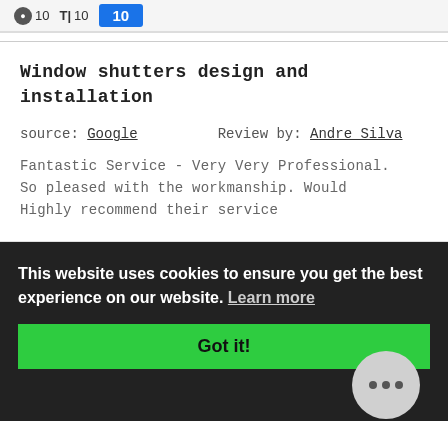10  T|10  10
Window shutters design and installation
source: Google    Review by: Andre Silva
Fantastic Service - Very Very Professional. So pleased with the workmanship. Would Highly recommend their service
This website uses cookies to ensure you get the best experience on our website. Learn more
Got it!